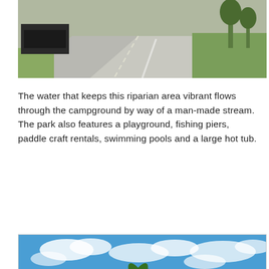[Figure (photo): A paved road through a campground or park with vehicles visible at left and green grass on the right side, partially cropped at top]
The water that keeps this riparian area vibrant flows through the campground by way of a man-made stream.  The park also features a playground, fishing piers, paddle craft rentals, swimming pools and a large hot tub.
[Figure (photo): An outdoor swimming pool area with white lounge chairs, palm trees, a bare deciduous tree on the right, rolling hills in the background, and a blue sky with scattered clouds]